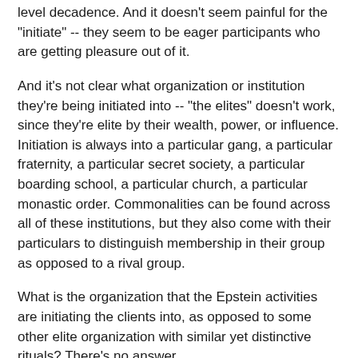level decadence. And it doesn't seem painful for the "initiate" -- they seem to be eager participants who are getting pleasure out of it.
And it's not clear what organization or institution they're being initiated into -- "the elites" doesn't work, since they're elite by their wealth, power, or influence. Initiation is always into a particular gang, a particular fraternity, a particular secret society, a particular boarding school, a particular church, a particular monastic order. Commonalities can be found across all of these institutions, but they also come with their particulars to distinguish membership in their group as opposed to a rival group.
What is the organization that the Epstein activities are initiating the clients into, as opposed to some other elite organization with similar yet distinctive rituals? There's no answer.
So then we go with the "supplying demand" explanation. It could not be more obvious how sinful our elites are, and how willing they are to use their wealth, power, and influence to